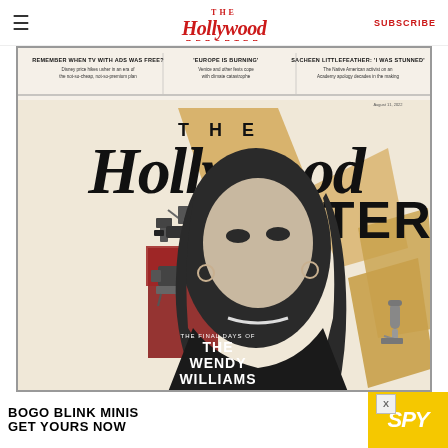The Hollywood Reporter — SUBSCRIBE
[Figure (photo): The Hollywood Reporter magazine cover featuring Wendy Williams in black and white, with colorful collage elements. Cover lines include: REMEMBER WHEN TV WITH ADS WAS FREE? Disney price hikes usher in an era of the not-so-cheap, not-so-premium plan; 'EUROPE IS BURNING' Venice and other fests cope with climate catastrophe; SACHEEN LITTLEFEATHER: 'I WAS STUNNED' The Native American activist on an Academy apology decades in the making; THE FINAL DAYS OF THE WENDY WILLIAMS SHOW]
[Figure (infographic): BOGO BLINK MINIS GET YOURS NOW advertisement banner with SPY logo on yellow background]